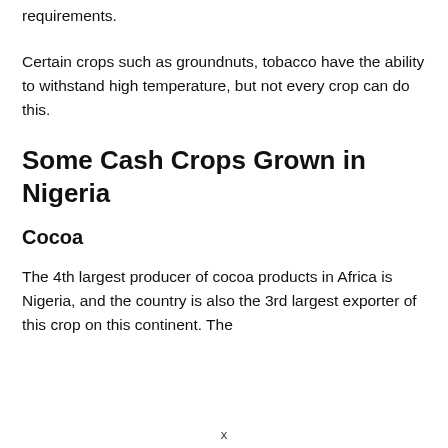requirements.
Certain crops such as groundnuts, tobacco have the ability to withstand high temperature, but not every crop can do this.
Some Cash Crops Grown in Nigeria
Cocoa
The 4th largest producer of cocoa products in Africa is Nigeria, and the country is also the 3rd largest exporter of this crop on this continent. The
x